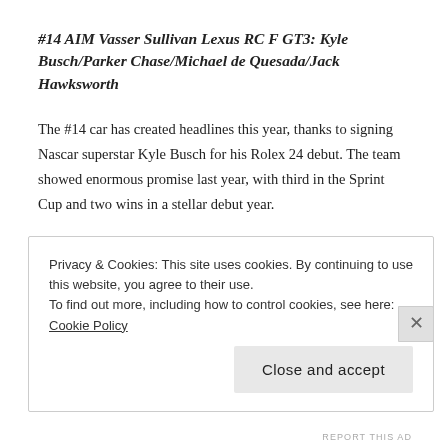#14 AIM Vasser Sullivan Lexus RC F GT3: Kyle Busch/Parker Chase/Michael de Quesada/Jack Hawksworth
The #14 car has created headlines this year, thanks to signing Nascar superstar Kyle Busch for his Rolex 24 debut. The team showed enormous promise last year, with third in the Sprint Cup and two wins in a stellar debut year.
Jack Hawksworth returns, this time partnered with Parker Chase. 2017 Rolex 24 GTD winner Michael de Quesada joins for the Endurance rounds, along with Busch.
Privacy & Cookies: This site uses cookies. By continuing to use this website, you agree to their use. To find out more, including how to control cookies, see here: Cookie Policy
Close and accept